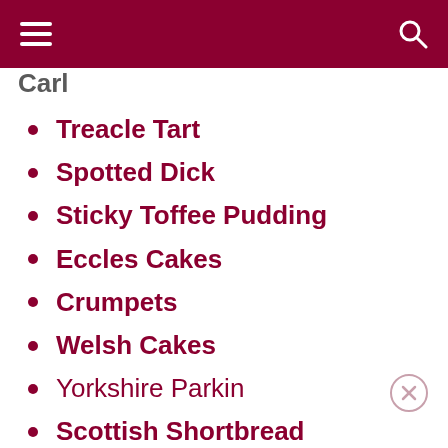Carl
Treacle Tart
Spotted Dick
Sticky Toffee Pudding
Eccles Cakes
Crumpets
Welsh Cakes
Yorkshire Parkin
Scottish Shortbread
Bara Brith
Mincemeat
Mincemeat Pie
Lemon Curd
Victoria Sponge Cake